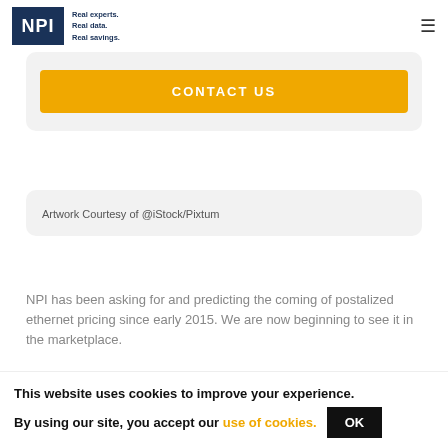NPI — Real experts. Real data. Real savings.
interested in learning more about NPI's services?
CONTACT US
Artwork Courtesy of @iStock/Pixtum
NPI has been asking for and predicting the coming of postalized ethernet pricing since early 2015. We are now beginning to see it in the marketplace.
What is postalized pricing? In telecom speak, to "postalize" means to structure prices so they are
This website uses cookies to improve your experience. By using our site, you accept our use of cookies.